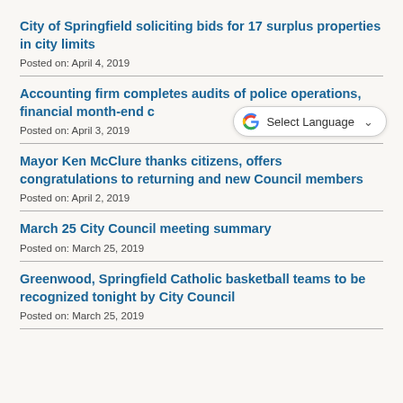City of Springfield soliciting bids for 17 surplus properties in city limits
Posted on: April 4, 2019
Accounting firm completes audits of police operations, financial month-end c…
Posted on: April 3, 2019
Mayor Ken McClure thanks citizens, offers congratulations to returning and new Council members
Posted on: April 2, 2019
March 25 City Council meeting summary
Posted on: March 25, 2019
Greenwood, Springfield Catholic basketball teams to be recognized tonight by City Council
Posted on: March 25, 2019